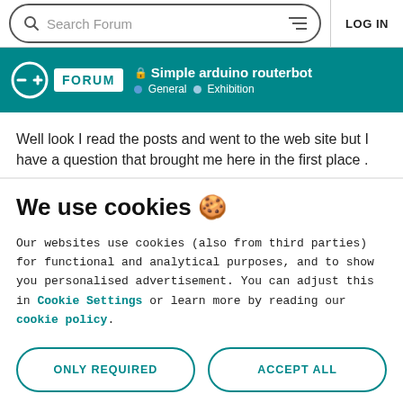Search Forum   LOG IN
Simple arduino routerbot — General > Exhibition
Well look I read the posts and went to the web site but I have a question that brought me here in the first place .
We use cookies 🍪
Our websites use cookies (also from third parties) for functional and analytical purposes, and to show you personalised advertisement. You can adjust this in Cookie Settings or learn more by reading our cookie policy.
ONLY REQUIRED   ACCEPT ALL